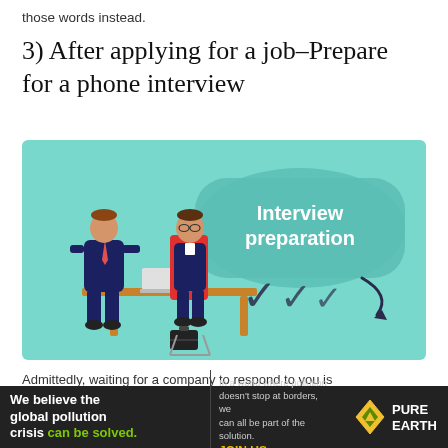those words instead.
3) After applying for a job–Prepare for a phone interview
[Figure (illustration): Illustration showing two men in business attire sitting across from each other at a desk with a laptop. Above them is a large teal speech bubble labeled 'Interview preparation' with three dark checkmarks below it and a curved arrow pointing to the right.]
Admittedly, waiting for a company to respond to you is
[Figure (infographic): Advertisement banner for Pure Earth. Left section (dark background): 'We believe the global pollution crisis can be solved.' (where 'can be solved.' is in green). Middle section: 'In a world where pollution doesn't stop at borders, we can all be part of the solution. JOIN US.' Right section: Pure Earth logo with diamond/arrow icon and 'PURE EARTH' text in white.]